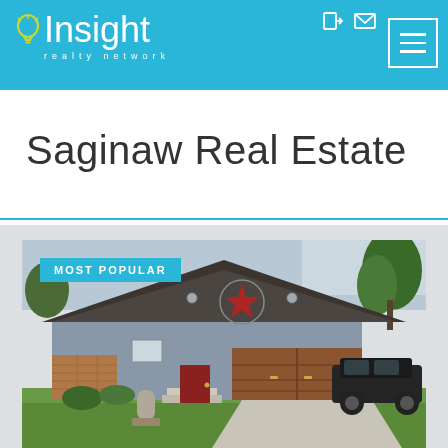Insight realty network
Saginaw Real Estate
[Figure (photo): Exterior photo of a single-story residential house in Saginaw with a dark hip roof, blue-gray siding, brick accents, double brown garage door, black Jeep in driveway, green lawn, and trees. A 'MOST POPULAR' badge overlays the top-left of the image.]